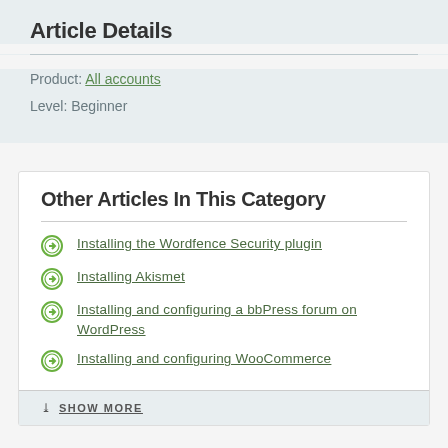Article Details
Product: All accounts
Level: Beginner
Other Articles In This Category
Installing the Wordfence Security plugin
Installing Akismet
Installing and configuring a bbPress forum on WordPress
Installing and configuring WooCommerce
SHOW MORE